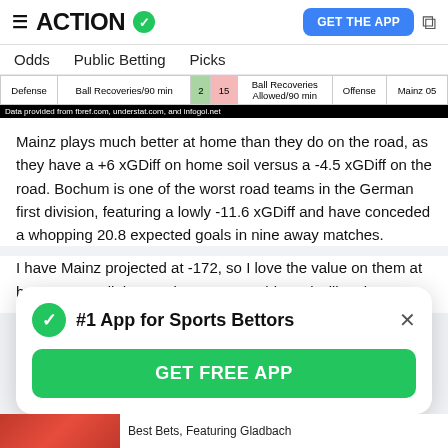ACTION  GET THE APP
Odds  Public Betting  Picks
| Defense | Ball Recoveries/90 min | 2 | 15 | Ball Recoveries Allowed/90 min | Offense | Mainz 05 |
| --- | --- | --- | --- | --- | --- | --- |
Mainz plays much better at home than they do on the road, as they have a +6 xGDiff on home soil versus a -4.5 xGDiff on the road. Bochum is one of the worst road teams in the German first division, featuring a lowly -11.6 xGDiff and have conceded a whopping 20.8 expected goals in nine away matches.
I have Mainz projected at -172, so I love the value on them at home to get all three points at -145 odds and will make
[Figure (screenshot): #1 App for Sports Bettors popup with GET FREE APP green button and close X]
Best Bets, Featuring Gladbach